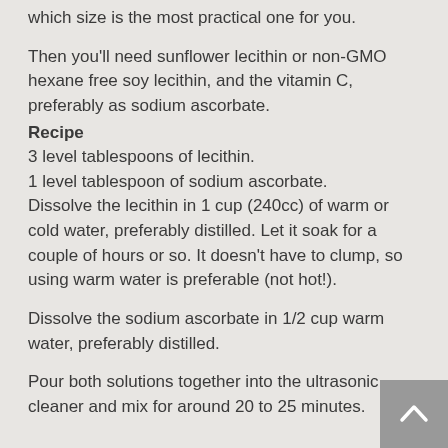which size is the most practical one for you.
Then you'll need sunflower lecithin or non-GMO hexane free soy lecithin, and the vitamin C, preferably as sodium ascorbate.
Recipe
3 level tablespoons of lecithin.
1 level tablespoon of sodium ascorbate.
Dissolve the lecithin in 1 cup (240cc) of warm or cold water, preferably distilled. Let it soak for a couple of hours or so. It doesn't have to clump, so using warm water is preferable (not hot!).
Dissolve the sodium ascorbate in 1/2 cup warm water, preferably distilled.
Pour both solutions together into the ultrasonic cleaner and mix for around 20 to 25 minutes.